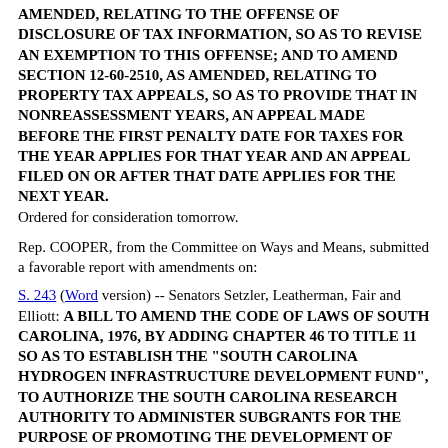AMENDED, RELATING TO THE OFFENSE OF DISCLOSURE OF TAX INFORMATION, SO AS TO REVISE AN EXEMPTION TO THIS OFFENSE; AND TO AMEND SECTION 12-60-2510, AS AMENDED, RELATING TO PROPERTY TAX APPEALS, SO AS TO PROVIDE THAT IN NONREASSESSMENT YEARS, AN APPEAL MADE BEFORE THE FIRST PENALTY DATE FOR TAXES FOR THE YEAR APPLIES FOR THAT YEAR AND AN APPEAL FILED ON OR AFTER THAT DATE APPLIES FOR THE NEXT YEAR. Ordered for consideration tomorrow.
Rep. COOPER, from the Committee on Ways and Means, submitted a favorable report with amendments on:
S. 243 (Word version) -- Senators Setzler, Leatherman, Fair and Elliott: A BILL TO AMEND THE CODE OF LAWS OF SOUTH CAROLINA, 1976, BY ADDING CHAPTER 46 TO TITLE 11 SO AS TO ESTABLISH THE "SOUTH CAROLINA HYDROGEN INFRASTRUCTURE DEVELOPMENT FUND", TO AUTHORIZE THE SOUTH CAROLINA RESEARCH AUTHORITY TO ADMINISTER SUBGRANTS FOR THE PURPOSE OF PROMOTING THE DEVELOPMENT OF HYDROGEN PRODUCTION, TO ALLOW THE FUND TO RECEIVE DONATIONS, GRANTS, AND OTHER FUNDING AS PROVIDED BY LAW, TO ALLOW A TAXPAYER WHO MAKES A CONTRIBUTION TO THE FUND TO RECEIVE A